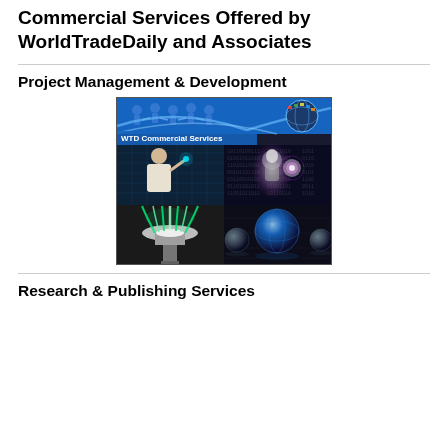Commercial Services Offered by WorldTradeDaily and Associates
Project Management & Development
[Figure (illustration): WTD Commercial Services collage image showing four quadrants: top-left has silhouette figures in a chain on a blue background, top-right has a globe with international flags, middle-left shows a woman in white touching a glowing interface, middle-right shows a glowing figure holding an energy globe, bottom-left shows green energy beams hitting a platform, bottom-right shows dark blue spheres/globes floating in space.]
Research & Publishing Services